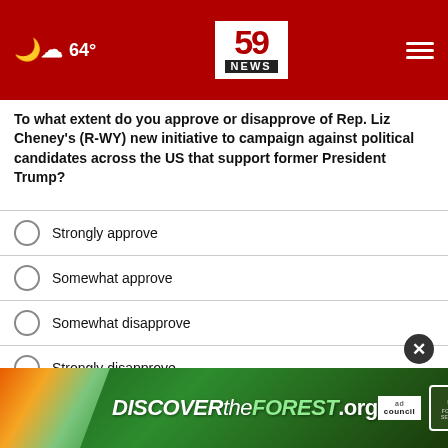59 NEWS | 64°
To what extent do you approve or disapprove of Rep. Liz Cheney's (R-WY) new initiative to campaign against political candidates across the US that support former President Trump?
Strongly approve
Somewhat approve
Somewhat disapprove
Strongly disapprove
Other / No opinion
NEXT *
* By clicking "NEXT" you agree to the following: We use cookies to track your survey answers. If you would like to continue with this survey, please read and agree to the CivicScience Privacy Policy and Terms of Service
[Figure (infographic): DiscoverTheForest.org advertisement banner with forest imagery, ad council and US Forest Service logos]